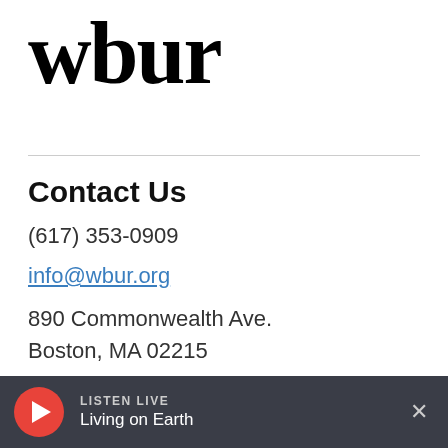wbur
Contact Us
(617) 353-0909
info@wbur.org
890 Commonwealth Ave.
Boston, MA 02215
More ways to get in touch.
LISTEN LIVE
Living on Earth